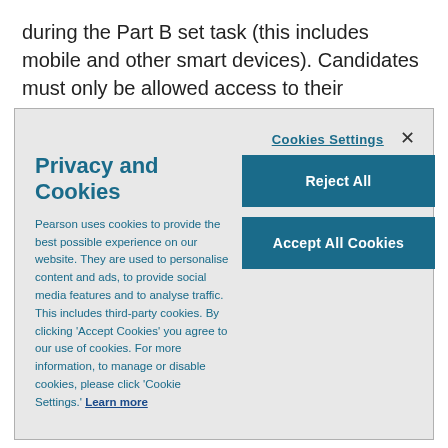during the Part B set task (this includes mobile and other smart devices). Candidates must only be allowed access to their dedicated user area during
Cookies Settings
Privacy and Cookies
Reject All
Accept All Cookies
Pearson uses cookies to provide the best possible experience on our website. They are used to personalise content and ads, to provide social media features and to analyse traffic. This includes third-party cookies. By clicking 'Accept Cookies' you agree to our use of cookies. For more information, to manage or disable cookies, please click 'Cookie Settings.' Learn more